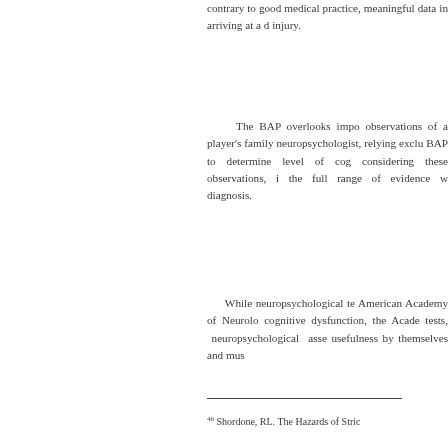contrary to good medical practice, meaningful data in arriving at a diagnosis of injury.
The BAP overlooks important observations of a player's family and neuropsychologist, relying exclusively on BAP to determine level of cognitive considering these observations, it ignored the full range of evidence when making diagnosis.
While neuropsychological tests, the American Academy of Neurology may assess cognitive dysfunction, the Academy notes that tests, neuropsychological assessments have usefulness by themselves and must
46 Shordone, RL The Hazards of Strict